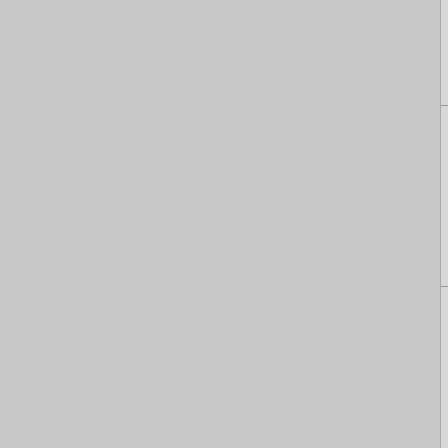in the sky So its me open wide W come to die...
March 15th, 200... Erik Fitzgerald Views: 859 - Co... None...
Day of the Swo... Supremacy *Ar... Band: Day of the... White Supremac... Background: 30... :swastikasmiley:...
March 15th, 200... Erik Fitzgerald Views: 10,752 - Tags: day of the...
Thompson - ?a... koncert na maks... for this song Jew... Thompson!!! So... old Ustascha mc... SPREMNI!!....fo... it is warrior song... for freedom, Tho... solider and he w...